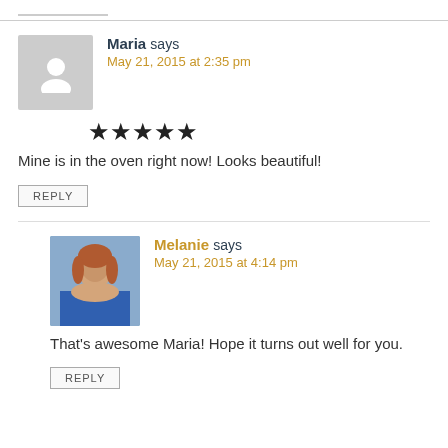Maria says
May 21, 2015 at 2:35 pm
[Figure (other): 5 star rating icons]
Mine is in the oven right now! Looks beautiful!
REPLY
Melanie says
May 21, 2015 at 4:14 pm
That's awesome Maria! Hope it turns out well for you.
REPLY